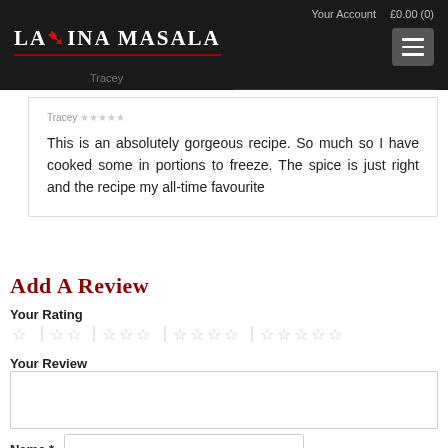Lavina Masala | Your Account | £0.00 (0)
Tracey [partially visible name]
This is an absolutely gorgeous recipe. So much so I have cooked some in portions to freeze. The spice is just right and the recipe my all-time favourite
Add a Review
Your Rating
Your Review
Name *